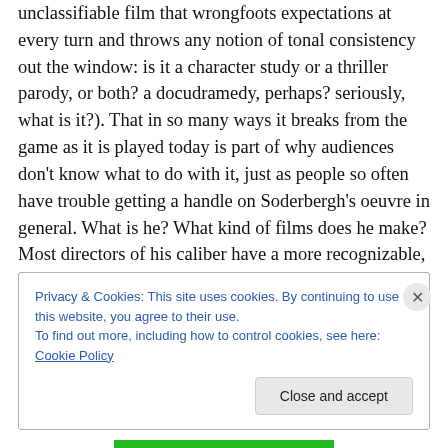unclassifiable film that wrongfoots expectations at every turn and throws any notion of tonal consistency out the window: is it a character study or a thriller parody, or both? a docudramedy, perhaps? seriously, what is it?). That in so many ways it breaks from the game as it is played today is part of why audiences don't know what to do with it, just as people so often have trouble getting a handle on Soderbergh's oeuvre in general. What is he? What kind of films does he make? Most directors of his caliber have a more recognizable, idiosyncratic approach (Wes Anderson, for instance, but even P.T. Anderson).
Privacy & Cookies: This site uses cookies. By continuing to use this website, you agree to their use.
To find out more, including how to control cookies, see here: Cookie Policy